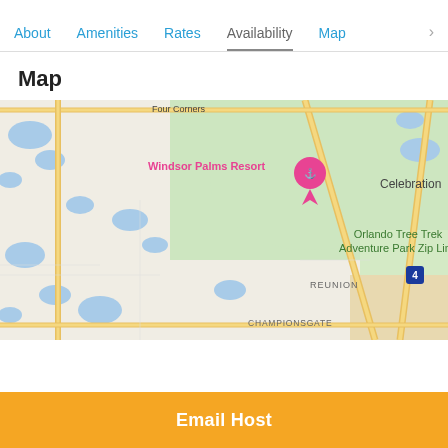About | Amenities | Rates | Availability | Map
Map
[Figure (map): Google Maps view centered on Windsor Palms Resort near Four Corners, Florida. Shows locations: Windsor Palms Resort (pink marker), Celebration, Orlando Tree Trek Adventure Park Zip Line, Reunion, Championsgate, highway 417, and Interstate 4.]
Email Host